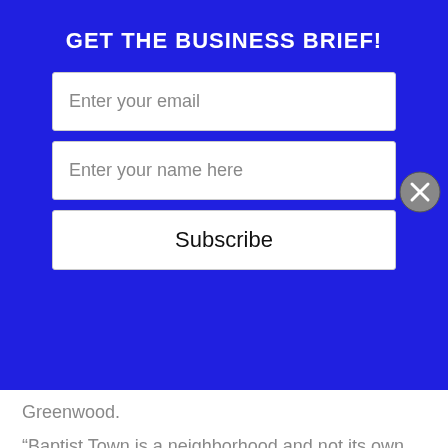GET THE BUSINESS BRIEF!
[Figure (screenshot): Email subscription form with 'Enter your email' field, 'Enter your name here' field, and 'Subscribe' button on blue background, with close (X) button]
Greenwood.
“Baptist Town is a neighborhood and not its own town at all; it’s part of Greenwood,” she explains. “We know that it’s at least 135 years old and is probably one of the first places where African Americans could own property in Mississippi after slavery ended. So, it has a really long history and